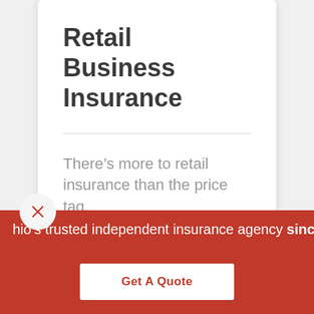Retail Business Insurance
There’s more to retail insurance than the price tag.
hio’s trusted independent insurance agency sinc
Get A Quote